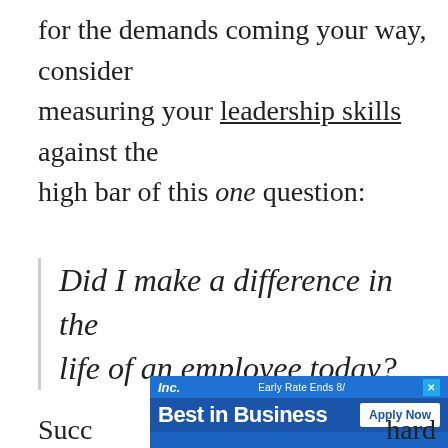for the demands coming your way, consider measuring your leadership skills against the high bar of this one question:
Did I make a difference in the life of an employee today?
[Figure (other): Advertisement banner for Inc. Best in Business award with 'Early Rate Ends 8/' and 'Apply Now' button]
Succ... hard